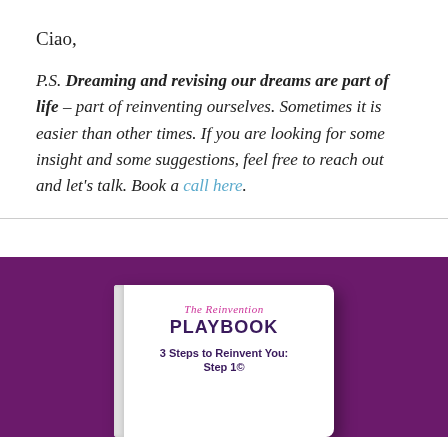Ciao,
P.S. Dreaming and revising our dreams are part of life – part of reinventing ourselves. Sometimes it is easier than other times. If you are looking for some insight and some suggestions, feel free to reach out and let's talk. Book a call here.
[Figure (illustration): White book cover for 'The Reinvention Playbook: 3 Steps to Reinvent You:' displayed against a dark purple background. The book shows script text 'The Reinvention' in pink italic, 'PLAYBOOK' in large bold dark purple letters, and subtitle '3 Steps to Reinvent You:' in dark purple bold.]